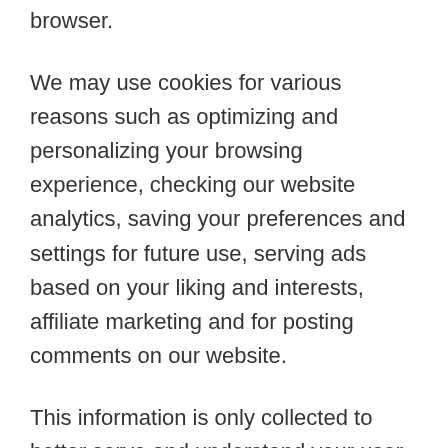browser.
We may use cookies for various reasons such as optimizing and personalizing your browsing experience, checking our website analytics, saving your preferences and settings for future use, serving ads based on your liking and interests, affiliate marketing and for posting comments on our website.
This information is only collected to better serve and understand your user experience on the website. You have the option of turning off cookies on your computer should you wish to do so. If you choose to do that, you may not be able to view all features and content of this website.